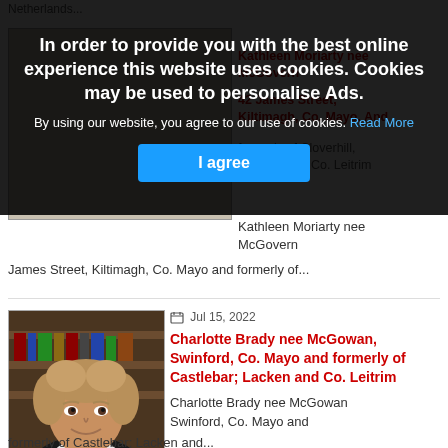[Figure (screenshot): Cookie consent overlay with dark background showing notice about cookies]
In order to provide you with the best online experience this website uses cookies. Cookies may be used to personalise Ads.
By using our website, you agree to our use of cookies. Read More
I agree
[Figure (photo): Portrait photo of Charlotte Brady nee McGowan, elderly woman smiling]
Jul 15, 2022
Charlotte Brady nee McGowan, Swinford, Co. Mayo and formerly of Castlebar; Lacken and Co. Leitrim
Charlotte Brady nee McGowan
Swinford, Co. Mayo and
formerly of Castlebar; Lacken and...